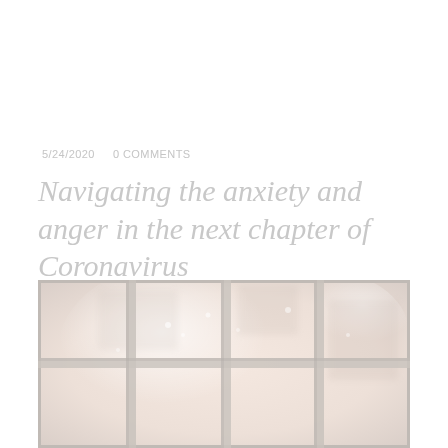5/24/2020   0 COMMENTS
Navigating the anxiety and anger in the next chapter of Coronavirus
[Figure (photo): A soft, muted photograph of a multi-pane window with frosted or foggy glass panes, set against a pale pinkish-beige background suggesting winter or overcast daylight outside]